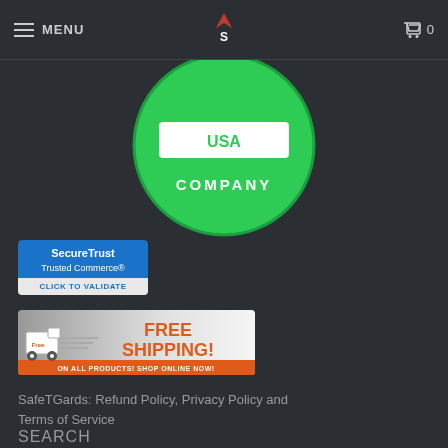MENU | VS logo | 0
[Figure (logo): Circular green badge with white text reading USA COMPANY]
[Figure (logo): SecureTrust Trusted Commerce - Click to Validate badge]
[Figure (infographic): Free Shipping on all products! Shop Online Now! banner with truck graphic]
SafeTGards: Refund Policy, Privacy Policy and Terms of Service
SEARCH
ABOUT US